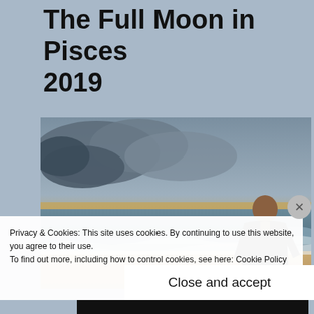The Full Moon in Pisces 2019
[Figure (photo): A man standing on a beach at sunset/dusk, waves washing ashore, dramatic cloudy sky with orange and yellow hues near the horizon.]
Privacy & Cookies: This site uses cookies. By continuing to use this website, you agree to their use.
To find out more, including how to control cookies, see here: Cookie Policy
Close and accept